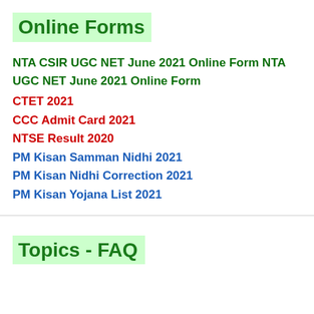Online Forms
NTA CSIR UGC NET June 2021 Online Form NTA UGC NET June 2021 Online Form
CTET 2021
CCC Admit Card 2021
NTSE Result 2020
PM Kisan Samman Nidhi 2021
PM Kisan Nidhi Correction 2021
PM Kisan Yojana List 2021
Topics - FAQ